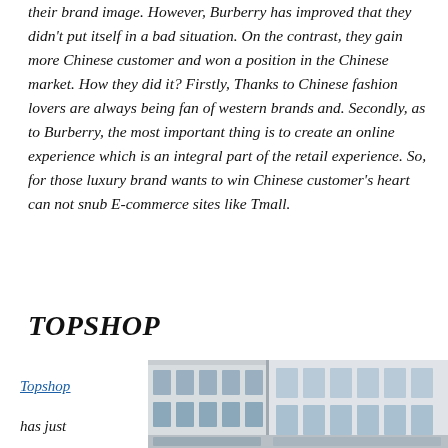their brand image. However, Burberry has improved that they didn't put itself in a bad situation. On the contrast, they gain more Chinese customer and won a position in the Chinese market. How they did it? Firstly, Thanks to Chinese fashion lovers are always being fan of western brands and. Secondly, as to Burberry, the most important thing is to create an online experience which is an integral part of the retail experience. So, for those luxury brand wants to win Chinese customer's heart can not snub E-commerce sites like Tmall.
TOPSHOP
Topshop
has just
[Figure (photo): Exterior photo of a multi-storey retail building with glass facade, showing architectural details of what appears to be a shopping center or department store.]